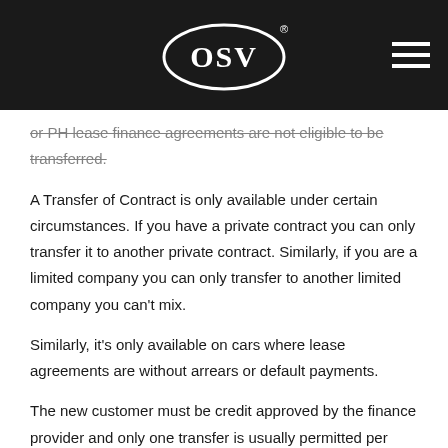OSV logo header
or PH lease finance agreements are not eligible to be transferred.
A Transfer of Contract is only available under certain circumstances. If you have a private contract you can only transfer it to another private contract. Similarly, if you are a limited company you can only transfer to another limited company you can't mix.
Similarly, it's only available on cars where lease agreements are without arrears or default payments.
The new customer must be credit approved by the finance provider and only one transfer is usually permitted per vehicle for the duration of the contract. The vehicle must